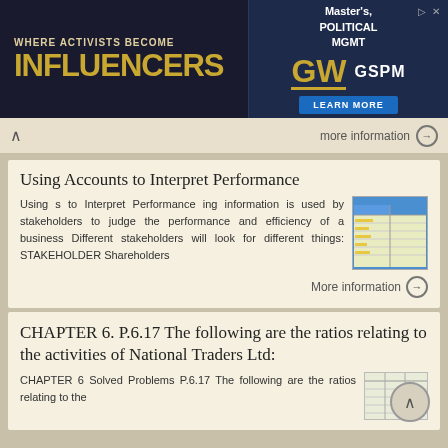[Figure (other): GW GSPM advertisement banner: WHERE ACTIVISTS BECOME INFLUENCERS. Master's, Political MGMT. LEARN MORE.]
more information →
Using Accounts to Interpret Performance
Using s to Interpret Performance ing information is used by stakeholders to judge the performance and efficiency of a business Different stakeholders will look for different things: STAKEHOLDER Shareholders
[Figure (table-as-image): Small thumbnail of a table showing stakeholder information]
More information →
CHAPTER 6. P.6.17 The following are the ratios relating to the activities of National Traders Ltd:
CHAPTER 6 Solved Problems P.6.17 The following are the ratios relating to the
[Figure (table-as-image): Small thumbnail of solved problems table]